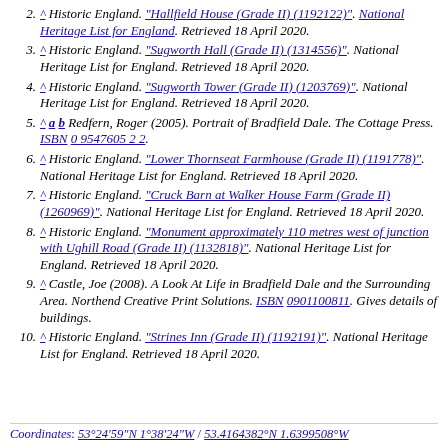2. ^ Historic England. "Hallfield House (Grade II) (1192122)". National Heritage List for England. Retrieved 18 April 2020.
3. ^ Historic England. "Sugworth Hall (Grade II) (1314556)". National Heritage List for England. Retrieved 18 April 2020.
4. ^ Historic England. "Sugworth Tower (Grade II) (1203769)". National Heritage List for England. Retrieved 18 April 2020.
5. ^ a b Redfern, Roger (2005). Portrait of Bradfield Dale. The Cottage Press. ISBN 0 9547605 2 2.
6. ^ Historic England. "Lower Thornseat Farmhouse (Grade II) (1191778)". National Heritage List for England. Retrieved 18 April 2020.
7. ^ Historic England. "Cruck Barn at Walker House Farm (Grade II) (1260969)". National Heritage List for England. Retrieved 18 April 2020.
8. ^ Historic England. "Monument approximately 110 metres west of junction with Ughill Road (Grade II) (1132818)". National Heritage List for England. Retrieved 18 April 2020.
9. ^ Castle, Joe (2008). A Look At Life in Bradfield Dale and the Surrounding Area. Northend Creative Print Solutions. ISBN 0901100811. Gives details of buildings.
10. ^ Historic England. "Strines Inn (Grade II) (1192191)". National Heritage List for England. Retrieved 18 April 2020.
Coordinates: 53°24′59″N 1°38′24″W / 53.4164382°N 1.6399508°W